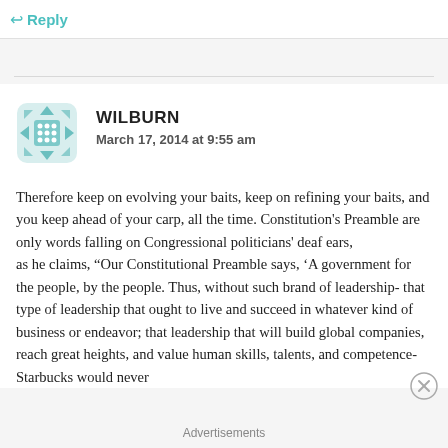Reply
[Figure (illustration): Decorative geometric avatar/icon with teal/mint color pattern featuring diamond and dot shapes arranged in a square with rounded corners]
WILBURN
March 17, 2014 at 9:55 am
Therefore keep on evolving your baits, keep on refining your baits, and you keep ahead of your carp, all the time. Constitution’s Preamble are only words falling on Congressional politicians’ deaf ears,
as he claims, “Our Constitutional Preamble says, ‘A government for the people, by the people. Thus, without such brand of leadership- that type of leadership that ought to live and succeed in whatever kind of business or endeavor; that leadership that will build global companies, reach great heights, and value human skills, talents, and competence- Starbucks would never
Advertisements